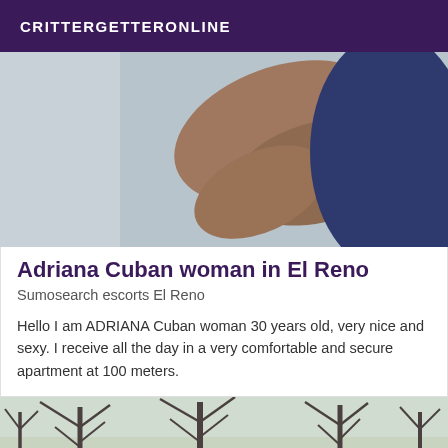CRITTERGETTERONLINE
[Figure (photo): Close-up photo of a person's leg/arm, dark skin tone, wearing a dark navy shirt, light gray background]
Adriana Cuban woman in El Reno
Sumosearch escorts El Reno
Hello I am ADRIANA Cuban woman 30 years old, very nice and sexy. I receive all the day in a very comfortable and secure apartment at 100 meters.
[Figure (photo): Outdoor photo showing bare trees with branches against a light sky, with green foliage visible at bottom]